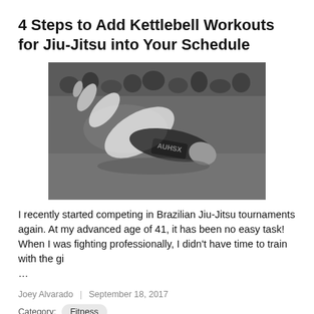4 Steps to Add Kettlebell Workouts for Jiu-Jitsu into Your Schedule
[Figure (photo): Black and white photo of two Brazilian Jiu-Jitsu competitors grappling on a mat, with an audience visible in the background.]
I recently started competing in Brazilian Jiu-Jitsu tournaments again. At my advanced age of 41, it has been no easy task! When I was fighting professionally, I didn’t have time to train with the gi
…
Joey Alvarado  |  September 18, 2017
Category:  Fitness